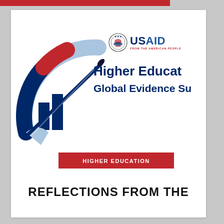[Figure (logo): USAID logo with seal and text 'FROM THE AMERICAN PEOPLE']
[Figure (illustration): Decorative graphic with bar chart, circular arc segments in blue, red, and light blue, and a pen/pencil element]
Higher Education Global Evidence Su
HIGHER EDUCATION
REFLECTIONS FROM THE